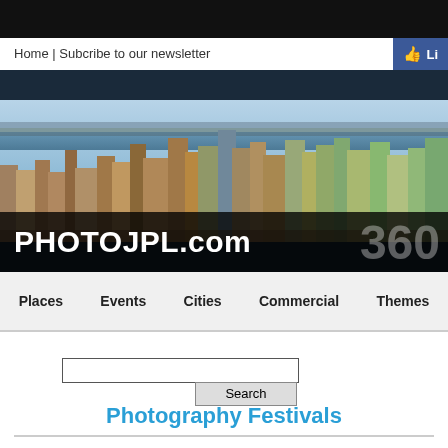Home | Subcribe to our newsletter
[Figure (photo): Aerial panoramic photo of New York City skyline with rivers and skyscrapers, with PHOTOJPL.com logo overlay and '360' text]
Places  Events  Cities  Commercial  Themes
Search
Photography Festivals